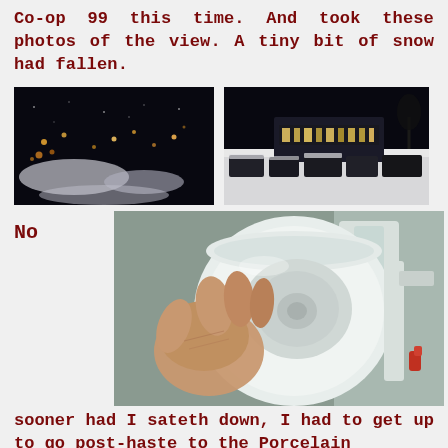Co-op 99 this time. And took these photos of the view. A tiny bit of snow had fallen.
[Figure (photo): Night view from high vantage point showing city lights and snow-covered streets below]
[Figure (photo): Night photo of a snowy parking lot or street with vehicles and building with illuminated sign]
No
[Figure (photo): Close-up photo of a white porcelain or ceramic cup/mug being held by a hand]
sooner had I sateth down, I had to get up to go post-haste to the Porcelain